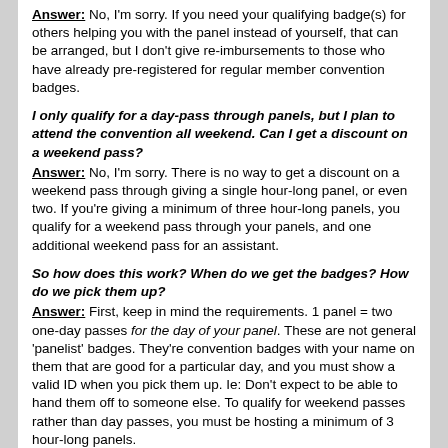Answer: No, I'm sorry. If you need your qualifying badge(s) for others helping you with the panel instead of yourself, that can be arranged, but I don't give re-imbursements to those who have already pre-registered for regular member convention badges.
I only qualify for a day-pass through panels, but I plan to attend the convention all weekend. Can I get a discount on a weekend pass?
Answer: No, I'm sorry. There is no way to get a discount on a weekend pass through giving a single hour-long panel, or even two. If you're giving a minimum of three hour-long panels, you qualify for a weekend pass through your panels, and one additional weekend pass for an assistant.
So how does this work? When do we get the badges? How do we pick them up?
Answer: First, keep in mind the requirements. 1 panel = two one-day passes for the day of your panel. These are not general 'panelist' badges. They're convention badges with your name on them that are good for a particular day, and you must show a valid ID when you pick them up. Ie: Don't expect to be able to hand them off to someone else. To qualify for weekend passes rather than day passes, you must be hosting a minimum of 3 hour-long panels.
If you need badges - you'll need to send information to either panels@fanime.com or rena@fanime.com with the full real names of the individuals whose names will go on the passes. You can include a nick-name or con-name, but if you don't give me a real name either the badge will not be given or you won't be allowed to pick it up since your ID won't match the name the badge was processed for. Also keep in mind that if you're getting a badge for more than just yourself - whoever is getting the